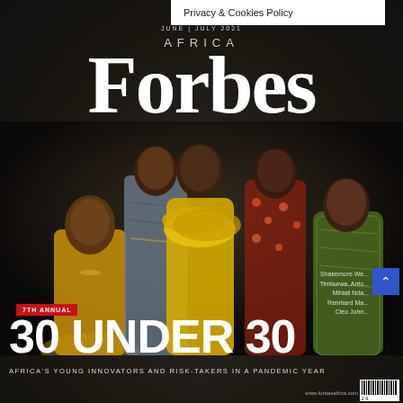Privacy & Cookies Policy
JUNE | JULY 2021
AFRICA
Forbes
[Figure (photo): Five young African professionals posing on a dark background. From left: a man in gold/mustard outfit seated, a man in patterned outfit standing, a woman in yellow ruffled dress, a woman in floral dress, and a woman in green sequined dress.]
Shakemore We...
Timburwa, Anto...
Mihiali Nda...
Reinhard Ma...
Cleo John...
7TH ANNUAL
30 UNDER 30
AFRICA'S YOUNG INNOVATORS AND RISK-TAKERS IN A PANDEMIC YEAR
www.forbesafrica.com